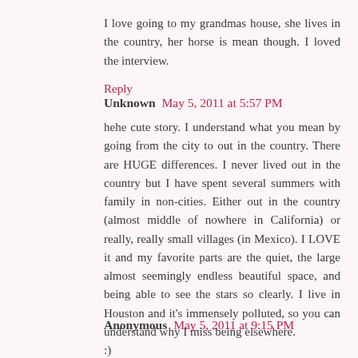I love going to my grandmas house, she lives in the country, her horse is mean though. I loved the interview.
Reply
Unknown May 5, 2011 at 5:57 PM
hehe cute story. I understand what you mean by going from the city to out in the country. There are HUGE differences. I never lived out in the country but I have spent several summers with family in non-cities. Either out in the country (almost middle of nowhere in California) or really, really small villages (in Mexico). I LOVE it and my favorite parts are the quiet, the large almost seemingly endless beautiful space, and being able to see the stars so clearly. I live in Houston and it's immensely polluted, so you can understand why I miss being elsewhere.
:)
Reply
Anonymous May 5, 2011 at 9:15 PM